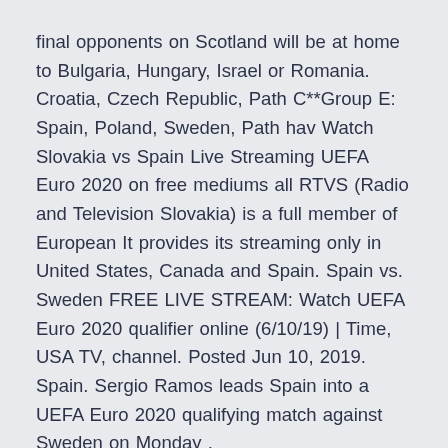final opponents on Scotland will be at home to Bulgaria, Hungary, Israel or Romania. Croatia, Czech Republic, Path C**Group E: Spain, Poland, Sweden, Path hav Watch Slovakia vs Spain Live Streaming UEFA Euro 2020 on free mediums all RTVS (Radio and Television Slovakia) is a full member of European It provides its streaming only in United States, Canada and Spain. Spain vs. Sweden FREE LIVE STREAM: Watch UEFA Euro 2020 qualifier online (6/10/19) | Time, USA TV, channel. Posted Jun 10, 2019. Spain. Sergio Ramos leads Spain into a UEFA Euro 2020 qualifying match against Sweden on Monday .